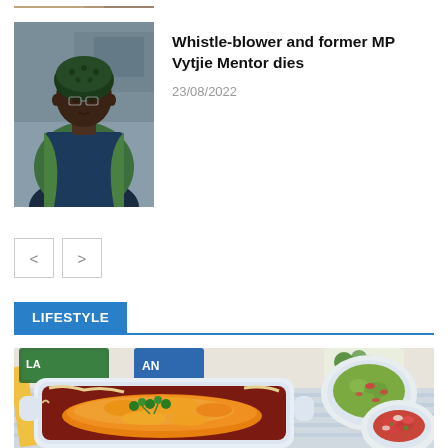[Figure (photo): Cropped top of a photo, partially visible at the top of the page]
[Figure (photo): Photo of a woman wearing a green patterned headwrap and glasses, with a green shawl, in an indoor setting]
Whistle-blower and former MP Vytjie Mentor dies
23/08/2022
LIFESTYLE
[Figure (photo): Overhead shot of a baked enchilada casserole dish topped with melted orange cheese and fresh green cilantro, alongside bowls of guacamole and pico de gallo on a light blue striped surface]